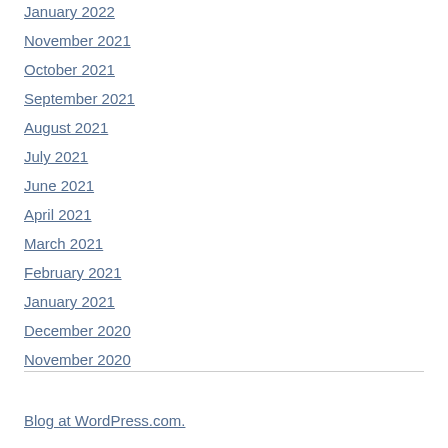January 2022
November 2021
October 2021
September 2021
August 2021
July 2021
June 2021
April 2021
March 2021
February 2021
January 2021
December 2020
November 2020
Blog at WordPress.com.